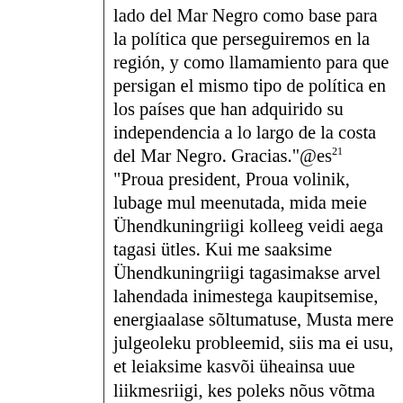lado del Mar Negro como base para la política que perseguiremos en la región, y como llamamiento para que persigan el mismo tipo de política en los países que han adquirido su independencia a lo largo de la costa del Mar Negro. Gracias."@es²¹ "Proua president, Proua volinik, lubage mul meenutada, mida meie Ühendkuningriigi kolleeg veidi aega tagasi ütles. Kui me saaksime Ühendkuningriigi tagasimakse arvel lahendada inimestega kaupitsemise, energiaalase sõltumatuse, Musta mere julgeoleku probleemid, siis ma ei usu, et leiaksime kasvõi üheainsa uue liikmesriigi, kes poleks nõus võtma oma kohvritest ühte miljardit eurot nende küsimuste lahendamiseks. Kolleegid, proua Anastase raport kannab ühte keskset sõnumit, ja see on sõnum, et Euroopa vajab